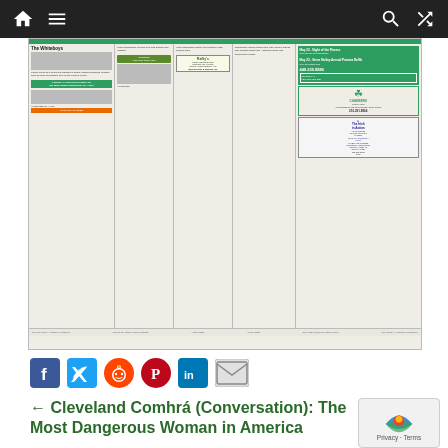Navigation bar with home, menu, search, shuffle icons
[Figure (screenshot): Scanned newspaper spread showing multiple columns of text and advertisements including The Whiteboys article, Conway Land Title Company ad, Reilly's ad, Chambers Funeral Home ad, The Irish in Action ad, and a green teal header bar]
[Figure (other): Social sharing icons: Facebook, Twitter, Reddit, Pinterest, LinkedIn, Email]
← Cleveland Comhrá (Conversation): The Most Dangerous Woman in America
[Figure (other): Google reCAPTCHA Privacy - Terms badge]